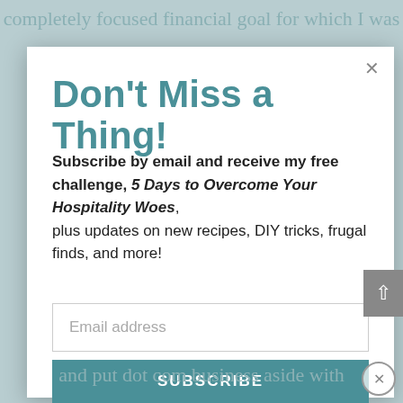completely focused financial goal for which I was
Don't Miss a Thing!
Subscribe by email and receive my free challenge, 5 Days to Overcome Your Hospitality Woes, plus updates on new recipes, DIY tricks, frugal finds, and more!
Email address
SUBSCRIBE
and put dot com business aside with